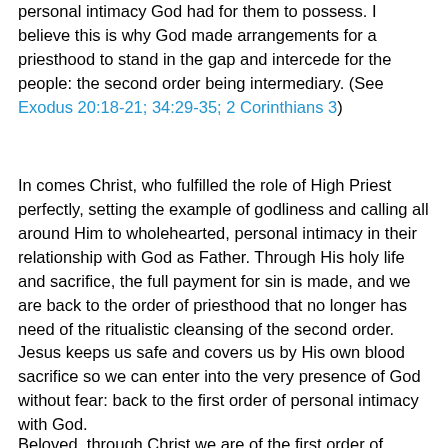personal intimacy God had for them to possess. I believe this is why God made arrangements for a priesthood to stand in the gap and intercede for the people: the second order being intermediary. (See Exodus 20:18-21; 34:29-35; 2 Corinthians 3)
In comes Christ, who fulfilled the role of High Priest perfectly, setting the example of godliness and calling all around Him to wholehearted, personal intimacy in their relationship with God as Father. Through His holy life and sacrifice, the full payment for sin is made, and we are back to the order of priesthood that no longer has need of the ritualistic cleansing of the second order. Jesus keeps us safe and covers us by His own blood sacrifice so we can enter into the very presence of God without fear: back to the first order of personal intimacy with God.
Beloved, through Christ we are of the first order of priests